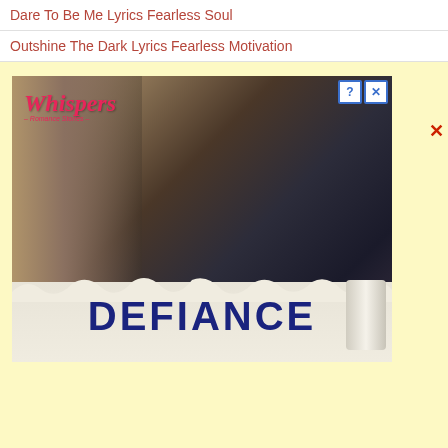Dare To Be Me Lyrics Fearless Soul
Outshine The Dark Lyrics Fearless Motivation
[Figure (photo): Advertisement for 'Whispers' romance stories app featuring a couple in an intimate pose with 'DEFIANCE' displayed on a torn newspaper strip at the bottom. Top right shows close and info buttons. An X button appears to the right of the ad.]